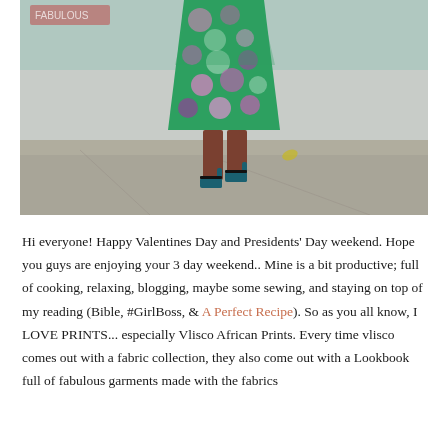[Figure (photo): A person walking toward the camera wearing a green, pink, and purple African print dress/skirt and teal heeled shoes, on a sidewalk with a light blue wall in the background.]
Hi everyone! Happy Valentines Day and Presidents' Day weekend. Hope you guys are enjoying your 3 day weekend.. Mine is a bit productive; full of cooking, relaxing, blogging, maybe some sewing, and staying on top of my reading (Bible, #GirlBoss, & A Perfect Recipe). So as you all know, I LOVE PRINTS... especially Vlisco African Prints. Every time vlisco comes out with a fabric collection, they also come out with a Lookbook full of fabulous garments made with the fabrics